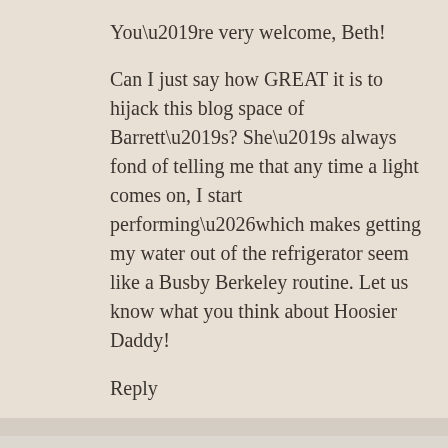You’re very welcome, Beth!
Can I just say how GREAT it is to hijack this blog space of Barrett’s? She’s always fond of telling me that any time a light comes on, I start performing…which makes getting my water out of the refrigerator seem like a Busby Berkeley routine. Let us know what you think about Hoosier Daddy!
Reply
Jane Morrison   January 7, 2014 at 4:13 pm
Thanks for sharing. One of the things I love